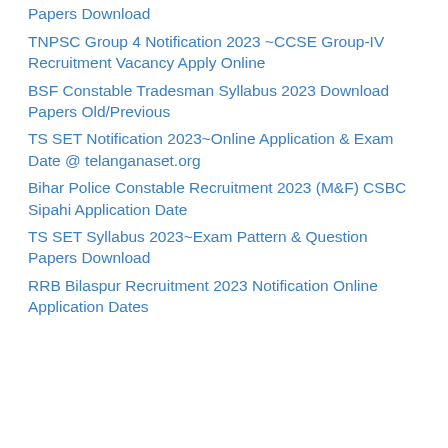Papers Download
TNPSC Group 4 Notification 2023 ~CCSE Group-IV Recruitment Vacancy Apply Online
BSF Constable Tradesman Syllabus 2023 Download Papers Old/Previous
TS SET Notification 2023~Online Application & Exam Date @ telanganaset.org
Bihar Police Constable Recruitment 2023 (M&F) CSBC Sipahi Application Date
TS SET Syllabus 2023~Exam Pattern & Question Papers Download
RRB Bilaspur Recruitment 2023 Notification Online Application Dates